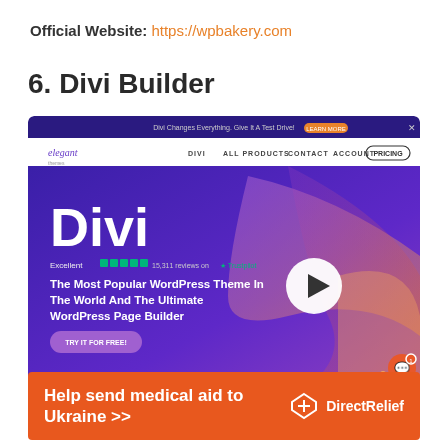Official Website: https://wpbakery.com
6. Divi Builder
[Figure (screenshot): Screenshot of the Divi Builder / Elegant Themes website showing the Divi homepage with purple gradient background, navigation bar, 'Divi' large heading, Trustpilot rating, tagline 'The Most Popular WordPress Theme In The World And The Ultimate WordPress Page Builder', a play button, and 'TRY IT FOR FREE!' CTA button.]
[Figure (infographic): Orange advertisement banner reading 'Help send medical aid to Ukraine >>' with Direct Relief logo on the right.]